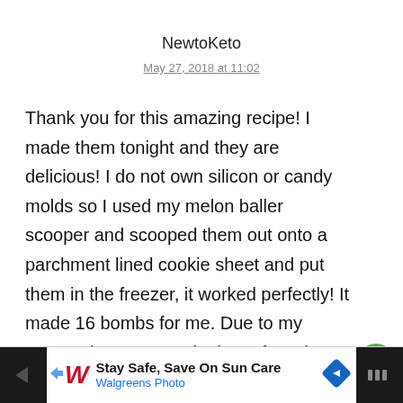NewtoKeto
May 27, 2018 at 11:02
Thank you for this amazing recipe! I made them tonight and they are delicious! I do not own silicon or candy molds so I used my melon baller scooper and scooped them out onto a parchment lined cookie sheet and put them in the freezer, it worked perfectly! It made 16 bombs for me. Due to my personal taste, I used 1tbsp of stevia because th is what I had on hand. I plan on making these again using blueberries, or blackberries, or even raspberries! This is my first ever fat bomb and I am
[Figure (infographic): Green heart/like button circle with heart icon, count of 23, and share icon circle]
[Figure (infographic): Advertisement banner: Walgreens logo with text 'Stay Safe, Save On Sun Care' and 'Walgreens Photo', navigation arrow icon, dark left and right panels]